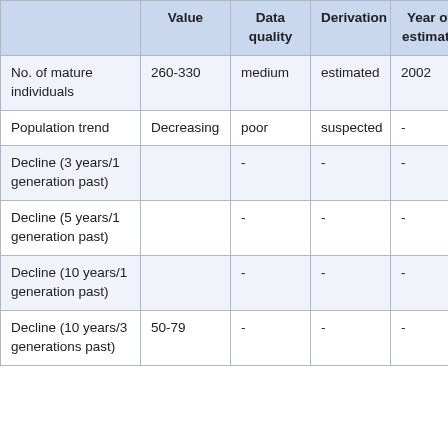|  | Value | Data quality | Derivation | Year of estimate |
| --- | --- | --- | --- | --- |
| No. of mature individuals | 260-330 | medium | estimated | 2002 |
| Population trend | Decreasing | poor | suspected | - |
| Decline (3 years/1 generation past) |  | - | - | - |
| Decline (5 years/1 generation past) |  | - | - | - |
| Decline (10 years/1 generation past) |  | - | - | - |
| Decline (10 years/3 generations past) | 50-79 | - | - | - |